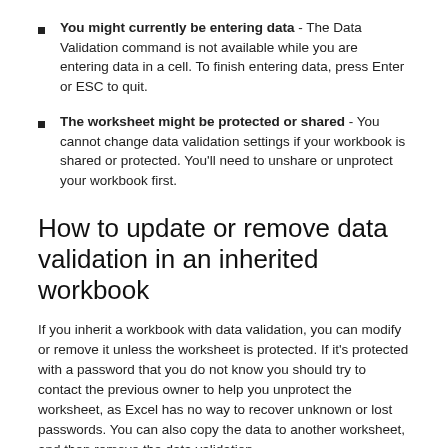You might currently be entering data - The Data Validation command is not available while you are entering data in a cell. To finish entering data, press Enter or ESC to quit.
The worksheet might be protected or shared - You cannot change data validation settings if your workbook is shared or protected. You'll need to unshare or unprotect your workbook first.
How to update or remove data validation in an inherited workbook
If you inherit a workbook with data validation, you can modify or remove it unless the worksheet is protected. If it's protected with a password that you do not know you should try to contact the previous owner to help you unprotect the worksheet, as Excel has no way to recover unknown or lost passwords. You can also copy the data to another worksheet, and then remove the data validation.
If you see a data validation alert when you try to enter or change data in a cell, and you're not clear about what you can enter